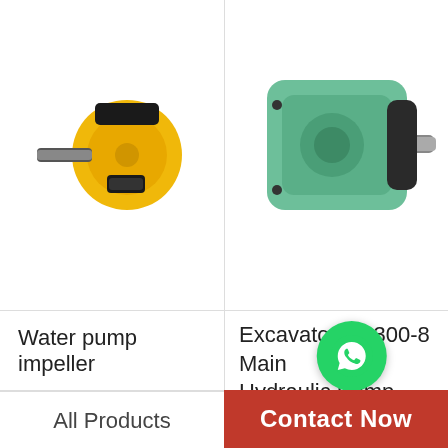[Figure (photo): Yellow hydraulic water pump impeller component with shaft]
[Figure (photo): Green excavator PC300-8 main hydraulic pump cylinder block component with shaft]
Water pump impeller
Excavator PC300-8 Main Hydraulic Pump Cylinder…
[Figure (photo): Black hydraulic gear pump component with shaft]
[Figure (photo): Blue hydraulic vane pump block with fittings and shaft, with WhatsApp Online overlay]
All Products
Contact Now